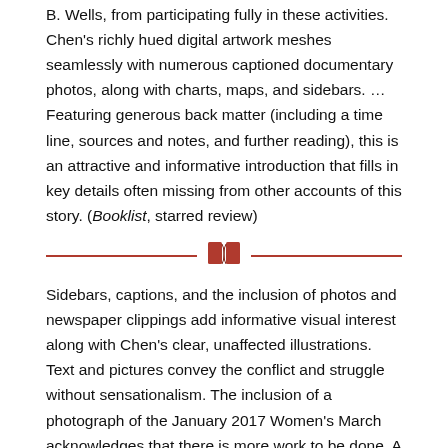B. Wells, from participating fully in these activities. Chen's richly hued digital artwork meshes seamlessly with numerous captioned documentary photos, along with charts, maps, and sidebars. … Featuring generous back matter (including a time line, sources and notes, and further reading), this is an attractive and informative introduction that fills in key details often missing from other accounts of this story. (Booklist, starred review)
[Figure (illustration): Decorative divider with two horizontal red lines flanking a red open book icon in the center]
Sidebars, captions, and the inclusion of photos and newspaper clippings add informative visual interest along with Chen's clear, unaffected illustrations. Text and pictures convey the conflict and struggle without sensationalism. The inclusion of a photograph of the January 2017 Women's March acknowledges that there is more work to be done. A well-documented, highly condensed introduction with substantial visual appeal. (Kirkus Reviews)